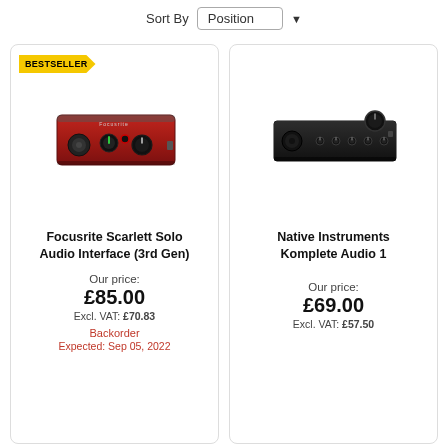Sort By   Position
[Figure (photo): Focusrite Scarlett Solo Audio Interface (3rd Gen) - red audio interface with XLR input and knobs]
Focusrite Scarlett Solo Audio Interface (3rd Gen)
Our price: £85.00 Excl. VAT: £70.83 Backorder Expected: Sep 05, 2022
[Figure (photo): Native Instruments Komplete Audio 1 - black audio interface with XLR input and multiple knobs]
Native Instruments Komplete Audio 1
Our price: £69.00 Excl. VAT: £57.50